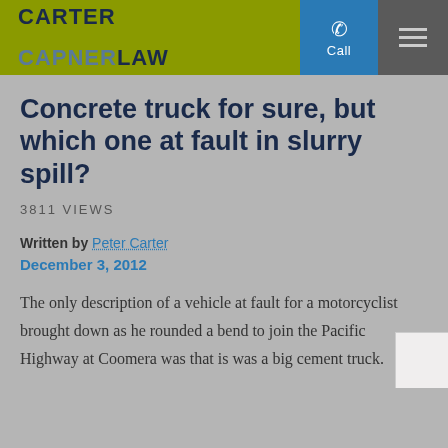CARTER CAPNERLAW | Call | Menu
Concrete truck for sure, but which one at fault in slurry spill?
3811 VIEWS
Written by Peter Carter
December 3, 2012
The only description of a vehicle at fault for a motorcyclist brought down as he rounded a bend to join the Pacific Highway at Coomera was that is was a big cement truck.